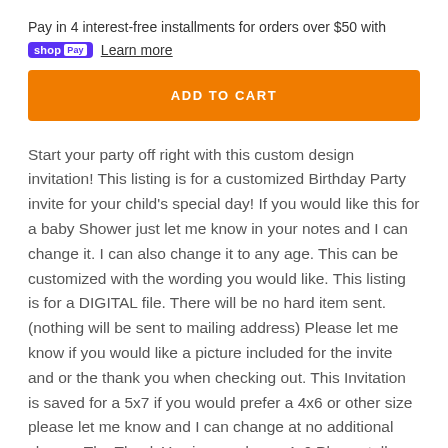Pay in 4 interest-free installments for orders over $50 with shop Pay Learn more
[Figure (other): Orange 'ADD TO CART' button]
Start your party off right with this custom design invitation! This listing is for a customized Birthday Party invite for your child's special day! If you would like this for a baby Shower just let me know in your notes and I can change it. I can also change it to any age. This can be customized with the wording you would like. This listing is for a DIGITAL file. There will be no hard item sent. (nothing will be sent to mailing address) Please let me know if you would like a picture included for the invite and or the thank you when checking out. This Invitation is saved for a 5x7 if you would prefer a 4x6 or other size please let me know and I can change at no additional charge. The Thank You is saved as a 4x6 Please tell me before I start designing as